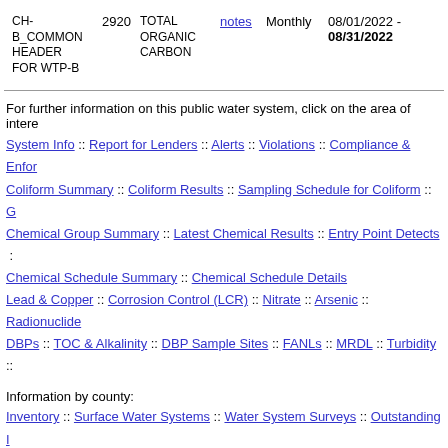| Name | Code | Parameter | Notes | Frequency | Date Range | Value |
| --- | --- | --- | --- | --- | --- | --- |
| CH-B COMMON HEADER FOR WTP-B | 2920 | TOTAL ORGANIC CARBON | notes | Monthly | 08/01/2022 - 08/31/2022 | 9 |
For further information on this public water system, click on the area of interest:
System Info :: Report for Lenders :: Alerts :: Violations :: Compliance & Enforcement :: Coliform Summary :: Coliform Results :: Sampling Schedule for Coliform :: G... Chemical Group Summary :: Latest Chemical Results :: Entry Point Detects :: Chemical Schedule Summary :: Chemical Schedule Details Lead & Copper :: Corrosion Control (LCR) :: Nitrate :: Arsenic :: Radionuclides DBPs :: TOC & Alkalinity :: DBP Sample Sites :: FANLs :: MRDL :: Turbidity ::
Information by county:
Inventory :: Surface Water Systems :: Water System Surveys :: Outstanding I... Alerts :: Violations :: Compliance & Enforcement :: Significant Deficiencies :: Water Advisories :: Contact Reports :: Cyanotoxins :: PFAS :: Post-wildfire VO...
Inventory List for all Oregon Drinking Water Systems in Excel or printable scr... Lab Help: Tools for Laboratories :: Staff/Partner Login
Introduction :: Data Search Options :: Water System Search :: DWS Home